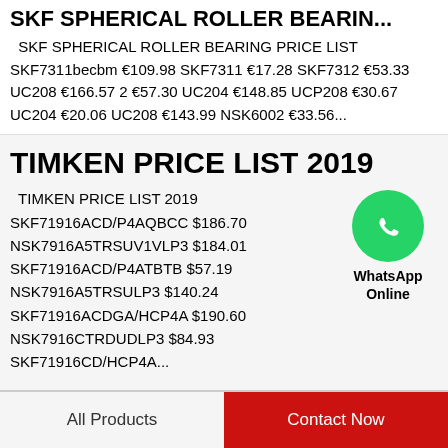SKF SPHERICAL ROLLER BEARIN...
SKF SPHERICAL ROLLER BEARING PRICE LIST SKF7311becbm €109.98 SKF7311 €17.28 SKF7312 €53.33 UC208 €166.57 2 €57.30 UC204 €148.85 UCP208 €30.67 UC204 €20.06 UC208 €143.99 NSK6002 €33.56...
TIMKEN PRICE LIST 2019
[Figure (illustration): WhatsApp Online green circle icon with phone handset, labeled WhatsApp Online]
TIMKEN PRICE LIST 2019 SKF71916ACD/P4AQBCC $186.70 NSK7916A5TRSUV1VLP3 $184.01 SKF71916ACD/P4ATBTB $57.19 NSK7916A5TRSULP3 $140.24 SKF71916ACDGA/HCP4A $190.60 NSK7916CTRDUDLP3 $84.93 SKF71916CD/HCP4A...
All Products   Contact Now